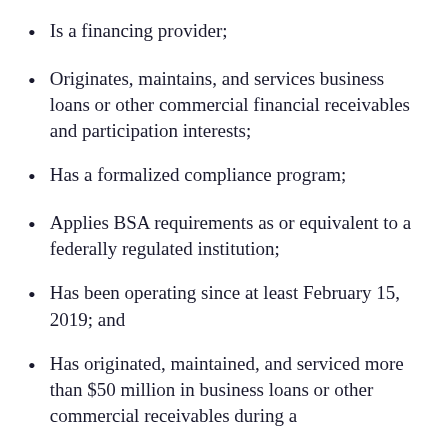Is a financing provider;
Originates, maintains, and services business loans or other commercial financial receivables and participation interests;
Has a formalized compliance program;
Applies BSA requirements as or equivalent to a federally regulated institution;
Has been operating since at least February 15, 2019; and
Has originated, maintained, and serviced more than $50 million in business loans or other commercial receivables during a